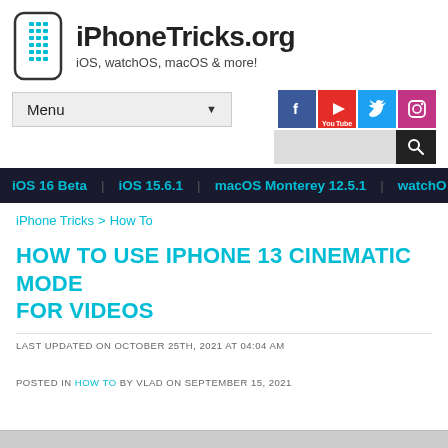[Figure (logo): iPhoneTricks.org logo: stylized phone icon with grid dots and rounded rectangle border]
iPhoneTricks.org
iOS, watchOS, macOS & more!
Menu
[Figure (infographic): Social media icons: Facebook (blue), YouTube (red), Twitter (light blue), Instagram (purple)]
iOS 16 Beta | iOS 15.6.1 | macOS Monterey 12.5.1 | watchO...
iPhone Tricks > How To
HOW TO USE IPHONE 13 CINEMATIC MODE FOR VIDEOS
LAST UPDATED ON OCTOBER 25TH, 2021 AT 04:04 AM
POSTED IN HOW TO BY VLAD ON SEPTEMBER 15, 2021